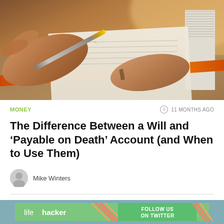[Figure (photo): Close-up photo of a person's hand holding a pen and writing on a document placed on a red/orange folder, with another hand and a stack of papers visible in the background.]
MONEY
11 MONTHS AGO
The Difference Between a Will and ‘Payable on Death’ Account (and When to Use Them)
Mike Winters
[Figure (screenshot): Lifehacker advertisement banner with green background showing the Lifehacker logo and a 'Follow us on Twitter' call-to-action button with diagonal stripe accents.]